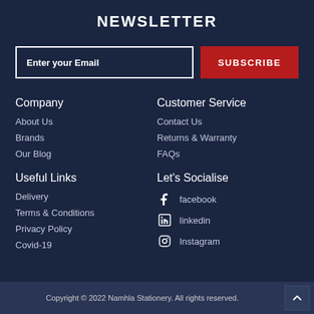NEWSLETTER
Enter your Email
SUBSCRIBE
Company
About Us
Brands
Our Blog
Customer Service
Contact Us
Returns & Warranty
FAQs
Useful Links
Delivery
Terms & Conditions
Privacy Policy
Covid-19
Let's Socialise
facebook
linkedin
Instagram
Copyright © 2022 Namhla Stationery. All rights reserved.